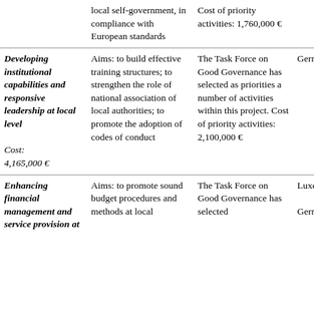| Project | Details | Task Force Notes | Country |
| --- | --- | --- | --- |
|  | local self-government, in compliance with European standards | Cost of priority activities: 1,760,000 € |  |
| Developing institutional capabilities and responsive leadership at local level

Cost: 4,165,000 € | Aims: to build effective training structures; to strengthen the role of national association of local authorities; to promote the adoption of codes of conduct | The Task Force on Good Governance has selected as priorities a number of activities within this project. Cost of priority activities: 2,100,000 € | Germany |
| Enhancing financial management and service provision at | Aims: to promote sound budget procedures and methods at local | The Task Force on Good Governance has selected | Luxembourg

Germany |